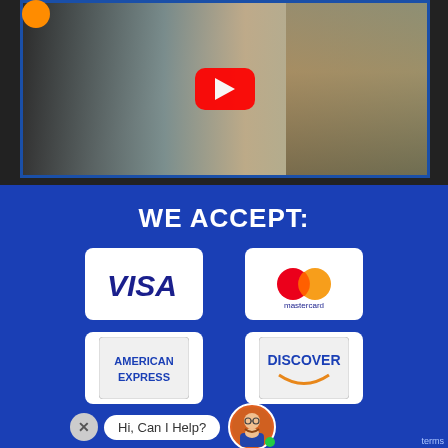[Figure (screenshot): YouTube video thumbnail showing a man gesturing in front of a bookshelf, with a YouTube play button overlay and an orange circle logo in the top-left corner]
[Figure (infographic): Dark blue payment acceptance section showing 'WE ACCEPT:' heading with four payment card logos: Visa, Mastercard, American Express, and Discover]
[Figure (screenshot): Chat widget with X close button, 'Hi, Can I Help?' speech bubble, and an avatar with a green online indicator dot]